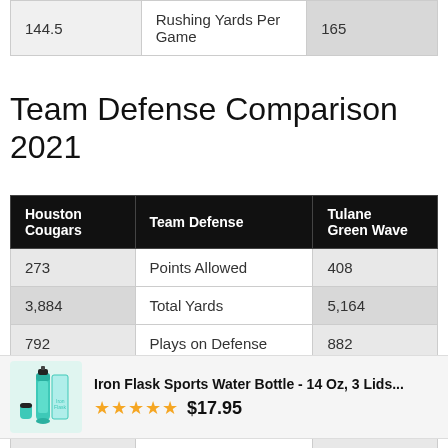|  |  |  |
| --- | --- | --- |
| 144.5 | Rushing Yards Per Game | 165 |
Team Defense Comparison 2021
| Houston Cougars | Team Defense | Tulane Green Wave |
| --- | --- | --- |
| 273 | Points Allowed | 408 |
| 3,884 | Total Yards | 5,164 |
| 792 | Plays on Defense | 882 |
| 4.9 | Yards Per Play | 5.9 |
| 203 | 1st Downs Allowed | 272 |
[Figure (other): Advertisement banner for Iron Flask Sports Water Bottle - 14 Oz, 3 Lids... rated 5 stars at $17.95]